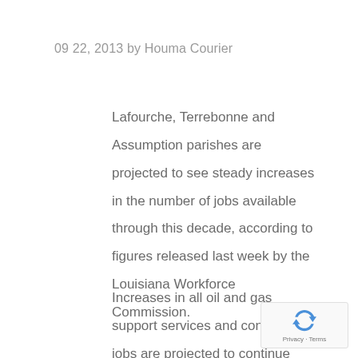09 22, 2013 by Houma Courier
Lafourche, Terrebonne and Assumption parishes are projected to see steady increases in the number of jobs available through this decade, according to figures released last week by the Louisiana Workforce Commission.
Increases in all oil and gas support services and construction jobs are projected to continue through 2020,